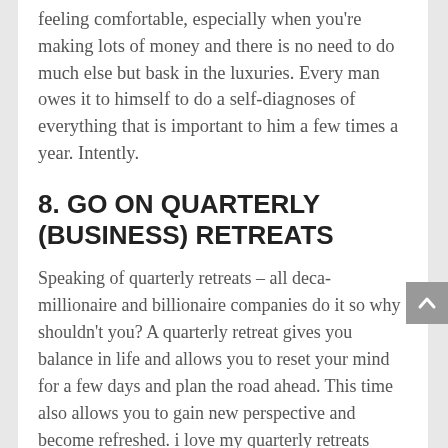feeling comfortable, especially when you're making lots of money and there is no need to do much else but bask in the luxuries. Every man owes it to himself to do a self-diagnoses of everything that is important to him a few times a year. Intently.
8. GO ON QUARTERLY (BUSINESS) RETREATS
Speaking of quarterly retreats – all deca-millionaire and billionaire companies do it so why shouldn't you? A quarterly retreat gives you balance in life and allows you to reset your mind for a few days and plan the road ahead. This time also allows you to gain new perspective and become refreshed. i love my quarterly retreats because ideas that I didn't have before magically appear. This is the result of being in a new environment and setting. Quarterly retreats should be done someplace other than your place of business like